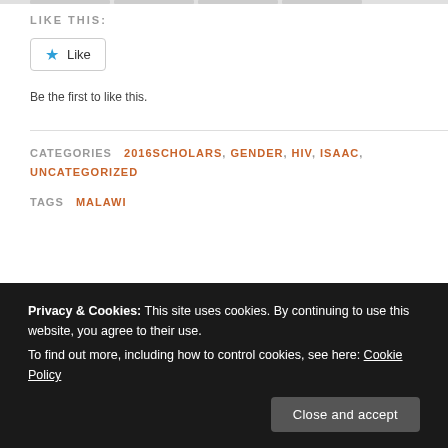LIKE THIS:
[Figure (other): Like button with star icon]
Be the first to like this.
CATEGORIES  2016SCHOLARS, GENDER, HIV, ISAAC, UNCATEGORIZED
TAGS  MALAWI
“You’re only a good activist if
Privacy & Cookies: This site uses cookies. By continuing to use this website, you agree to their use.
To find out more, including how to control cookies, see here: Cookie Policy
Close and accept